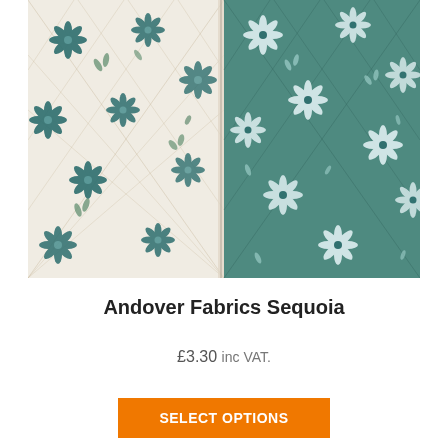[Figure (photo): Two pieces of floral fabric side by side: left piece is white/cream with teal/dark blue floral and leaf pattern; right piece is teal/green background with white and blue floral pattern. Both feature star-shaped flowers and vine/leaf designs.]
Andover Fabrics Sequoia
£3.30 inc VAT.
SELECT OPTIONS